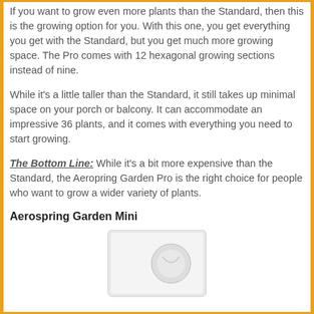If you want to grow even more plants than the Standard, then this is the growing option for you. With this one, you get everything you get with the Standard, but you get much more growing space. The Pro comes with 12 hexagonal growing sections instead of nine.
While it's a little taller than the Standard, it still takes up minimal space on your porch or balcony. It can accommodate an impressive 36 plants, and it comes with everything you need to start growing.
The Bottom Line: While it's a bit more expensive than the Standard, the Aeropring Garden Pro is the right choice for people who want to grow a wider variety of plants.
Aerospring Garden Mini
[Figure (photo): A white rectangular Aerospring Garden Mini unit shown partially at the bottom of the page]